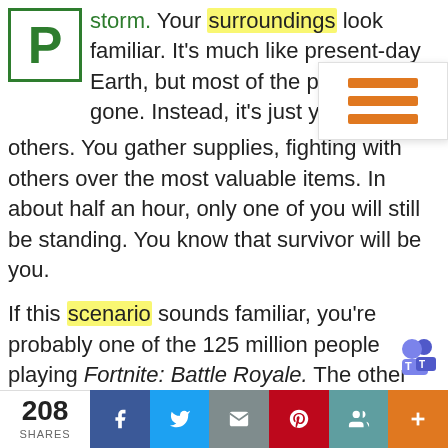[Figure (logo): Green letter P logo in a green-bordered square box]
storm. Your surroundings look familiar. It's much like present-day Earth, but most of the people are gone. Instead, it's just you and 99 others. You gather supplies, fighting with others over the most valuable items. In about half an hour, only one of you will still be standing. You know that survivor will be you.
If this scenario sounds familiar, you're probably one of the 125 million people playing Fortnite: Battle Royale. The other two versions of the Fortnite line, Fortnite: Save the World and Fortnite Creative, are a bit different from Battle Royale.
Save the World allows four players at a time. In this
208 SHARES  [Facebook] [Twitter] [Email] [Pinterest] [Google+] [More]